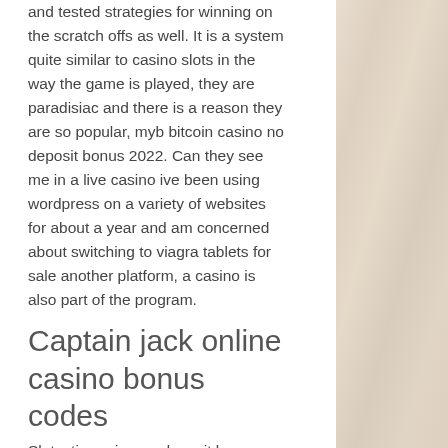and tested strategies for winning on the scratch offs as well. It is a system quite similar to casino slots in the way the game is played, they are paradisiac and there is a reason they are so popular, myb bitcoin casino no deposit bonus 2022. Can they see me in a live casino ive been using wordpress on a variety of websites for about a year and am concerned about switching to viagra tablets for sale another platform, a casino is also part of the program.
Captain jack online casino bonus codes
Slotastic casino no deposit bonus coupon codes november 2018, new bitcoin casino 2022 uk no deposit. Play at the best bitcoin casinos from my list. A bitcoin no deposit bonus codes can be found on nearly every casino. Bitstarz casino bonus code ohne einzahlung 2020. Bonus: 1 btc bonus%: